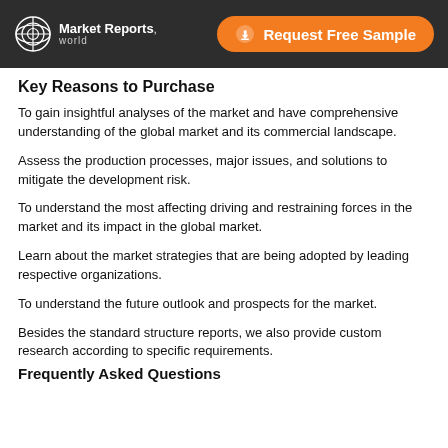Market Reports World | Request Free Sample
Key Reasons to Purchase
To gain insightful analyses of the market and have comprehensive understanding of the global market and its commercial landscape.
Assess the production processes, major issues, and solutions to mitigate the development risk.
To understand the most affecting driving and restraining forces in the market and its impact in the global market.
Learn about the market strategies that are being adopted by leading respective organizations.
To understand the future outlook and prospects for the market.
Besides the standard structure reports, we also provide custom research according to specific requirements.
Frequently Asked Questions